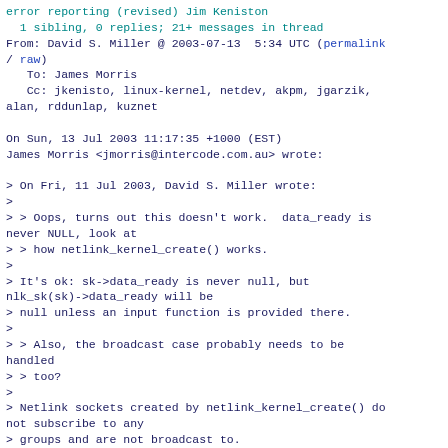error reporting (revised) Jim Keniston
  1 sibling, 0 replies; 21+ messages in thread
From: David S. Miller @ 2003-07-13  5:34 UTC (permalink / raw)
   To: James Morris
   Cc: jkenisto, linux-kernel, netdev, akpm, jgarzik, alan, rddunlap, kuznet

On Sun, 13 Jul 2003 11:17:35 +1000 (EST)
James Morris <jmorris@intercode.com.au> wrote:

> On Fri, 11 Jul 2003, David S. Miller wrote:
>
> > Oops, turns out this doesn't work.  data_ready is never NULL, look at
> > how netlink_kernel_create() works.
>
> It's ok: sk->data_ready is never null, but nlk_sk(sk)->data_ready will be
> null unless an input function is provided there.
>
> > Also, the broadcast case probably needs to be handled
> > too?
>
> Netlink sockets created by netlink_kernel_create() do not subscribe to any
> groups and are not broadcast to.

Oops, you're right on both counts, I brainfarted here.